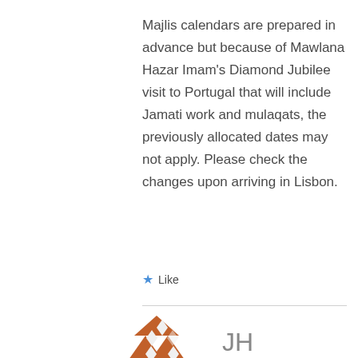Majlis calendars are prepared in advance but because of Mawlana Hazar Imam's Diamond Jubilee visit to Portugal that will include Jamati work and mulaqats, the previously allocated dates may not apply. Please check the changes upon arriving in Lisbon.
★ Like
[Figure (illustration): A decorative avatar icon in terracotta/orange color showing a stylized geometric pattern with diamond shapes, resembling a mosaic or tile design.]
JH